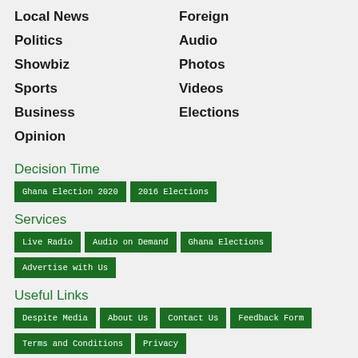Local News
Foreign
Politics
Audio
Showbiz
Photos
Sports
Videos
Business
Elections
Opinion
Decision Time
Ghana Election 2020
2016 Elections
Services
Live Radio
Audio on Demand
Ghana Elections
Advertise with Us
Useful Links
Despite Media
About Us
Contact Us
Feedback Form
Terms and Conditions
Privacy
Our Brands